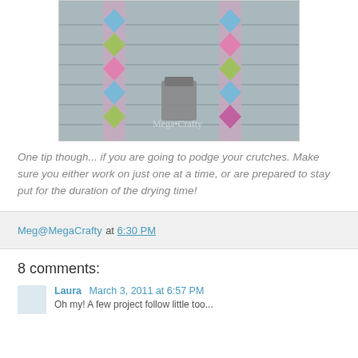[Figure (photo): Photo of decorated crutches with colorful diamond/argyle fabric pattern in blue, pink, green and purple, leaning against a gray wall. Watermark reads 'Mega•Crafty'.]
One tip though... if you are going to podge your crutches. Make sure you either work on just one at a time, or are prepared to stay put for the duration of the drying time!
Meg@MegaCrafty at 6:30 PM
8 comments:
Laura  March 3, 2011 at 6:57 PM